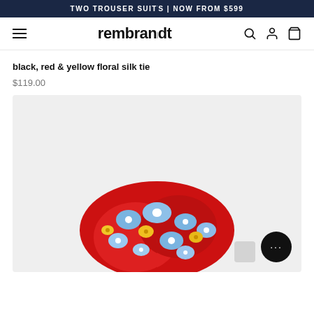TWO TROUSER SUITS | NOW FROM $599
[Figure (screenshot): Rembrandt brand navigation bar with hamburger menu icon on left, 'rembrandt' logo in center, and search, account, and basket icons on the right]
black, red & yellow floral silk tie
$119.00
[Figure (photo): Product photo of a black, red and yellow floral silk tie knotted and displayed against a light gray background, with a chat button overlay in the bottom right corner]